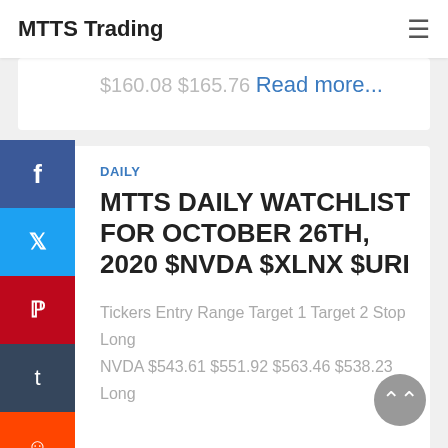MTTS Trading
$160.08 $165.76 Read more...
DAILY
MTTS DAILY WATCHLIST FOR OCTOBER 26TH, 2020 $NVDA $XLNX $URI
Tickers Entry Range Target 1 Target 2 Stop Long NVDA $543.61 $551.92 $563.46 $538.23 Long NVDA201120C542.5 $31.65 $36.30 $42.45 $29.00 Tickers Entry Range Target 1 Target 2 Stop Long XLNX $116.82 $118.02 Read more...